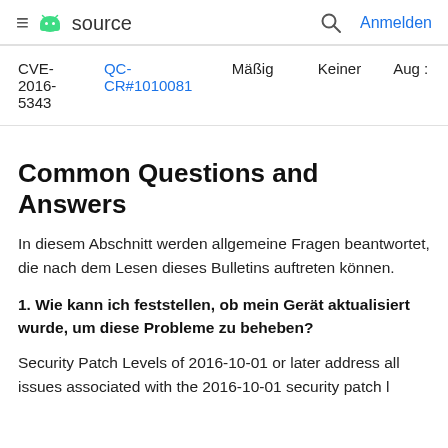≡ source   🔍 Anmelden
| CVE | Referenzen | Schweregrad | Aktualisierte Nexus-Geräte | Datum |
| --- | --- | --- | --- | --- |
| CVE-2016-5343 | QC-CR#1010081 | Mäßig | Keiner | Aug : |
Common Questions and Answers
In diesem Abschnitt werden allgemeine Fragen beantwortet, die nach dem Lesen dieses Bulletins auftreten können.
1. Wie kann ich feststellen, ob mein Gerät aktualisiert wurde, um diese Probleme zu beheben?
Security Patch Levels of 2016-10-01 or later address all issues associated with the 2016-10-01 security patch level.